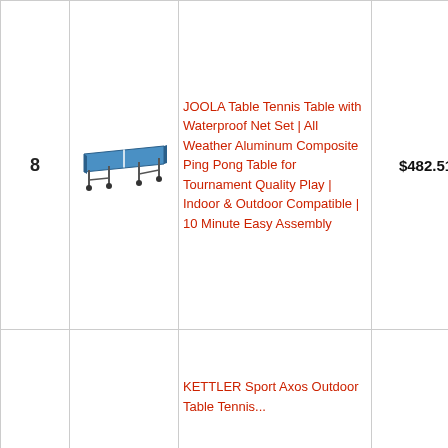| # | Image | Product | Price | Buy |
| --- | --- | --- | --- | --- |
| 8 | [ping pong table image] | JOOLA Table Tennis Table with Waterproof Net Set | All Weather Aluminum Composite Ping Pong Table for Tournament Quality Play | Indoor & Outdoor Compatible | 10 Minute Easy Assembly | $482.51 | [button] |
|  |  | KETTLER Sport Axos Outdoor Table Tennis... |  | [button] |